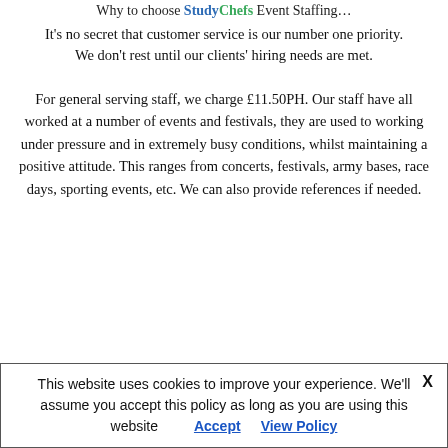Why to choose StudyChefs Event Staffing…
It's no secret that customer service is our number one priority. We don't rest until our clients' hiring needs are met.
For general serving staff, we charge £11.50PH. Our staff have all worked at a number of events and festivals, they are used to working under pressure and in extremely busy conditions, whilst maintaining a positive attitude. This ranges from concerts, festivals, army bases, race days, sporting events, etc. We can also provide references if needed.
This website uses cookies to improve your experience. We'll assume you accept this policy as long as you are using this website  Accept  View Policy